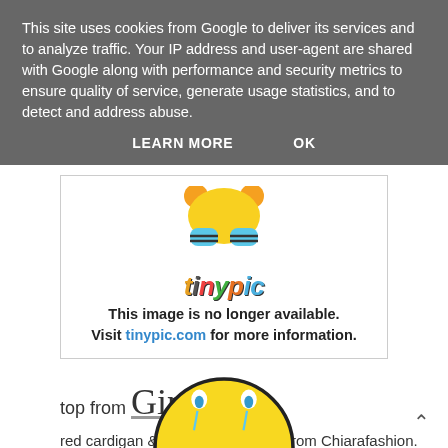This site uses cookies from Google to deliver its services and to analyze traffic. Your IP address and user-agent are shared with Google along with performance and security metrics to ensure quality of service, generate usage statistics, and to detect and address abuse.
LEARN MORE   OK
[Figure (logo): Tinypic mascot image (bee-like character) and Tinypic logo with text: This image is no longer available. Visit tinypic.com for more information.]
top from Ginonv
red cardigan & blue bodycon skirt from Chiarafashion.
[Figure (illustration): Sad smiley face emoji, partially visible at bottom of page]